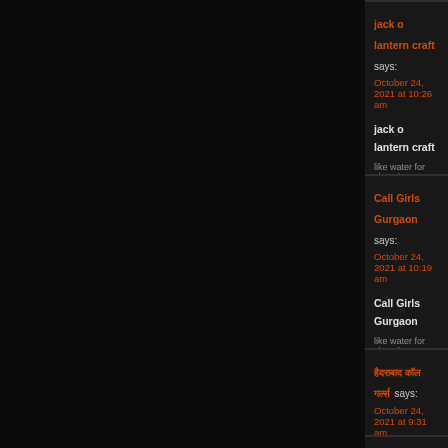jack o lantern craft says: October 24, 2021 at 10:26 am
jack o lantern craft
like water for chocolate » extras
Reply
Call Girls Gurgaon says: October 24, 2021 at 10:19 am
Call Girls Gurgaon
like water for chocolate » extras
Reply
हैदराबाद कॉल गर्ल्स says: October 24, 2021 at 9:31 am
हैदराबाद कॉल गर्ल्स
like water for chocolate » extras
Reply
fa'afefea binance sefe galue says: October 24, 2021 at 9:22 am